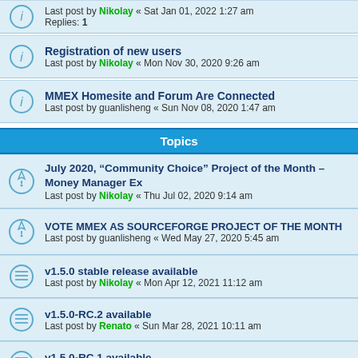Last post by Nikolay « Sat Jan 01, 2022 1:27 am
Replies: 1
Registration of new users
Last post by Nikolay « Mon Nov 30, 2020 9:26 am
MMEX Homesite and Forum Are Connected
Last post by guanlisheng « Sun Nov 08, 2020 1:47 am
Topics
July 2020, “Community Choice” Project of the Month – Money Manager Ex
Last post by Nikolay « Thu Jul 02, 2020 9:14 am
VOTE MMEX AS SOURCEFORGE PROJECT OF THE MONTH
Last post by guanlisheng « Wed May 27, 2020 5:45 am
v1.5.0 stable release available
Last post by Nikolay « Mon Apr 12, 2021 11:12 am
v1.5.0-RC.2 available
Last post by Renato « Sun Mar 28, 2021 10:11 am
v1.5.0-RC.1 available
Last post by Nikolay « Fri Mar 19, 2021 2:56 pm
MMEX 1.3.7 beta
Last post by Nikolay « Thu Mar 04, 2021 9:16 am
Replies: 2
mmex 1.3.6 stable release
Last post by Nikolay « Thu Dec 24, 2020 4:07 pm